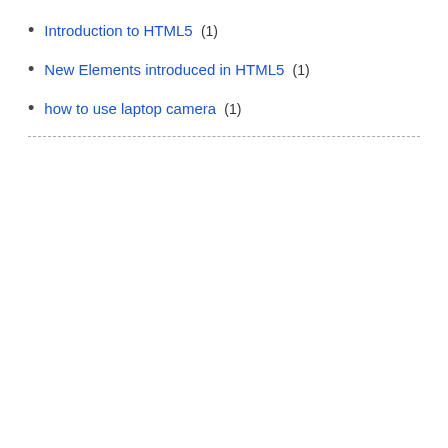Introduction to HTML5 (1)
New Elements introduced in HTML5 (1)
how to use laptop camera (1)